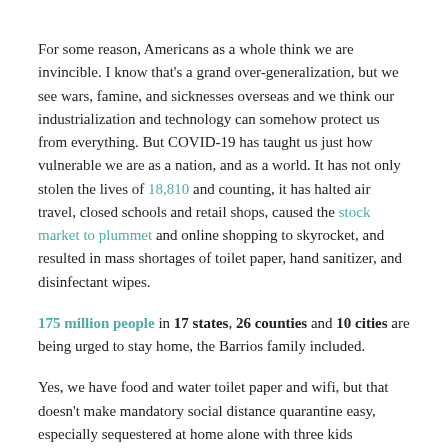For some reason, Americans as a whole think we are invincible. I know that's a grand over-generalization, but we see wars, famine, and sicknesses overseas and we think our industrialization and technology can somehow protect us from everything. But COVID-19 has taught us just how vulnerable we are as a nation, and as a world. It has not only stolen the lives of 18,810 and counting, it has halted air travel, closed schools and retail shops, caused the stock market to plummet and online shopping to skyrocket, and resulted in mass shortages of toilet paper, hand sanitizer, and disinfectant wipes.
175 million people in 17 states, 26 counties and 10 cities are being urged to stay home, the Barrios family included.
Yes, we have food and water toilet paper and wifi, but that doesn't make mandatory social distance quarantine easy, especially sequestered at home alone with three kids underfoot. We are all embarking upon uncharted waters. We are worried about how the quarantine will affect our 9-year-old's school year, how it will affect my husband's landscaping business (our only source of income for this year), and even the two-year-old and baby are feeling the effects, wondering why we can't visit the library like we usually do, or go to our weekly outing to the mall.